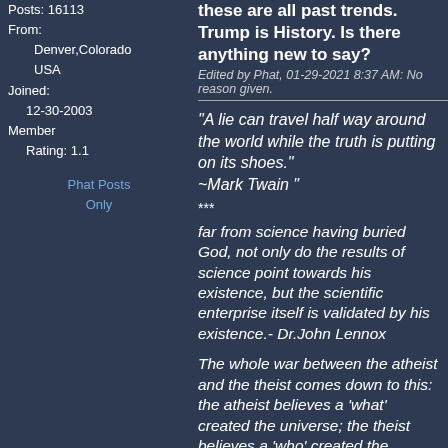these are all past trends. Trump is History. Is there anything new to say?
Posts: 16113
From:
    Denver,Colorado
    USA
Joined:
    12-30-2003
Member
    Rating: 1.1
Phat Posts Only
Edited by Phat, 01-29-2021 8:37 AM: No reason given.
"A lie can travel half way around the world while the truth is putting on its shoes." ~Mark Twain "
***
far from science having buried God, not only do the results of science point towards his existence, but the scientific enterprise itself is validated by his existence.- Dr.John Lennox
The whole war between the atheist and the theist comes down to this: the atheist believes a 'what' created the universe; the theist believes a 'who' created the universe. - Criss Jami, Killo
The most difficult subjects can be explained to the most slow-witted man if he has not formed any idea of them already; but the simplest thing cannot be made clear to the most intelligent man if he is firmly persuaded